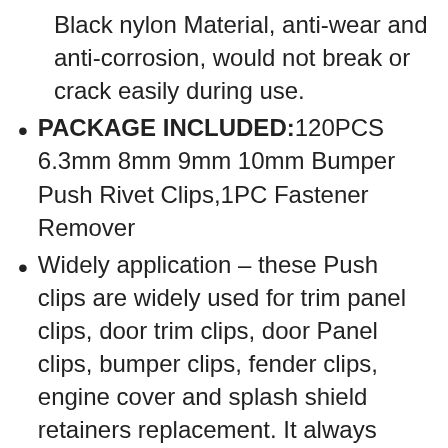Black nylon Material, anti-wear and anti-corrosion, would not break or crack easily during use.
PACKAGE INCLUDED:120PCS 6.3mm 8mm 9mm 10mm Bumper Push Rivet Clips,1PC Fastener Remover
Widely application – these Push clips are widely used for trim panel clips, door trim clips, door Panel clips, bumper clips, fender clips, engine cover and splash shield retainers replacement. It always covers some applications include telecom equipment, motor vehicles, domestic appliances, furniture and